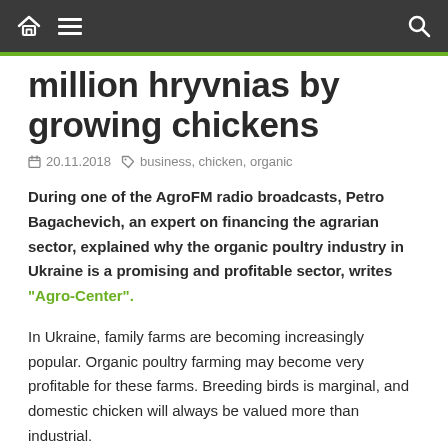Navigation bar with home icon, hamburger menu, and search icon
million hryvnias by growing chickens
20.11.2018   business, chicken, organic
During one of the AgroFM radio broadcasts, Petro Bagachevich, an expert on financing the agrarian sector, explained why the organic poultry industry in Ukraine is a promising and profitable sector, writes "Agro-Center".
In Ukraine, family farms are becoming increasingly popular. Organic poultry farming may become very profitable for these farms. Breeding birds is marginal, and domestic chicken will always be valued more than industrial.